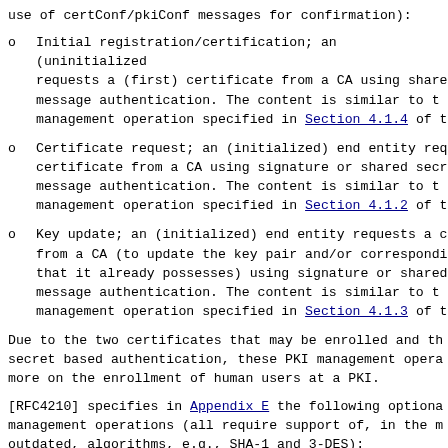use of certConf/pkiConf messages for confirmation):
Initial registration/certification; an (uninitialized) end entity requests a (first) certificate from a CA using shared secret based message authentication.  The content is similar to the management operation specified in Section 4.1.4 of t
Certificate request; an (initialized) end entity requests a certificate from a CA using signature or shared secret based message authentication.  The content is similar to the management operation specified in Section 4.1.2 of t
Key update; an (initialized) end entity requests a certificate from a CA (to update the key pair and/or corresponding certificate that it already possesses) using signature or shared secret based message authentication.  The content is similar to the management operation specified in Section 4.1.3 of t
Due to the two certificates that may be enrolled and the shared secret based authentication, these PKI management operations are more on the enrollment of human users at a PKI.
[RFC4210] specifies in Appendix E the following optional PKI management operations (all require support of, in the meantime outdated, algorithms, e.g., SHA-1 and 3-DES):
Root CA key update; a root CA updates its key pair and issues a CA key update announcement message that can be made available (via some transport mechanism) to the relevant end entities. This operation only supports a push and no pull model.  T